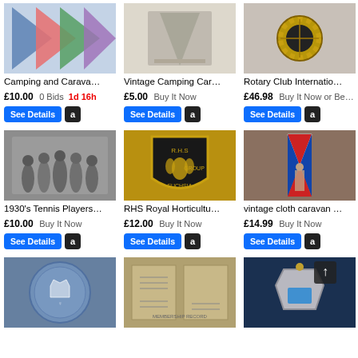[Figure (photo): Colorful pennant flags for camping and caravanning]
Camping and Carava…
£10.00 0 Bids 1d 16h
[Figure (photo): Vintage Camping Car pennant on light background]
Vintage Camping Car…
£5.00 Buy It Now
[Figure (photo): Rotary Club International badge/pin]
Rotary Club Internatio…
£46.98 Buy It Now or Be…
[Figure (photo): 1930s Tennis Players black and white group photo]
1930's Tennis Players…
£10.00 Buy It Now
[Figure (photo): RHS Royal Horticultural Society Fuchsia Group pin badge, black and gold shield shape]
RHS Royal Horicultu…
£12.00 Buy It Now
[Figure (photo): Vintage cloth caravan pennant with Union Jack and soldier figure]
vintage cloth caravan …
£14.99 Buy It Now
[Figure (photo): Blue Wedgwood decorative plate with royal crest]
[Figure (photo): Vintage booklet/document open showing printed pages]
[Figure (photo): Silver and blue shield medal hanging on dark background with upward arrow overlay]